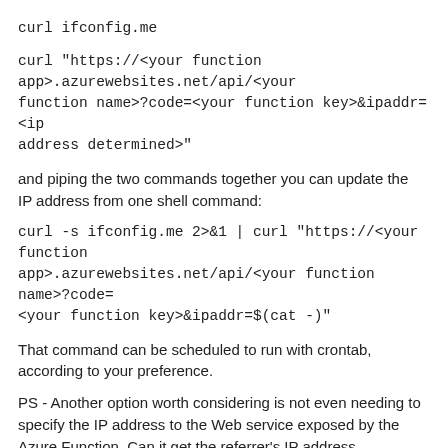curl ifconfig.me
curl "https://<your function app>.azurewebsites.net/api/<your function name>?code=<your function key>&ipaddr=<ip address determined>"
and piping the two commands together you can update the IP address from one shell command:
curl -s ifconfig.me 2>&1 | curl "https://<your function app>.azurewebsites.net/api/<your function name>?code=<your function key>&ipaddr=$(cat -)"
That command can be scheduled to run with crontab, according to your preference.
PS - Another option worth considering is not even needing to specify the IP address to the Web service exposed by the Azure Function. Can it get the referrer's IP address automatically?